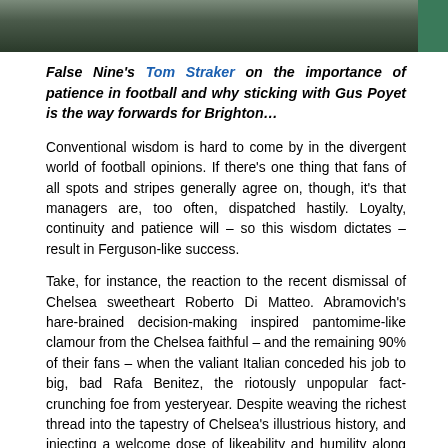[Figure (photo): Partial photo strip at top of page showing a blurred indoor/outdoor scene with dark and green tones]
False Nine's Tom Straker on the importance of patience in football and why sticking with Gus Poyet is the way forwards for Brighton…
Conventional wisdom is hard to come by in the divergent world of football opinions. If there's one thing that fans of all spots and stripes generally agree on, though, it's that managers are, too often, dispatched hastily. Loyalty, continuity and patience will – so this wisdom dictates – result in Ferguson-like success.
Take, for instance, the reaction to the recent dismissal of Chelsea sweetheart Roberto Di Matteo. Abramovich's hare-brained decision-making inspired pantomime-like clamour from the Chelsea faithful – and the remaining 90% of their fans – when the valiant Italian conceded his job to big, bad Rafa Benitez, the riotously unpopular fact-crunching foe from yesteryear. Despite weaving the richest thread into the tapestry of Chelsea's illustrious history, and injecting a welcome dose of likeability and humility along the way, Di Matteo was tossed aside like the toy of a bored, bratty child. The list of rashly banished managers is endless, but it is encouraging to see that, amidst the madness, sense can rear its beautiful head. The success of Di